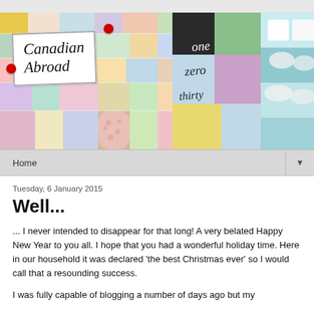[Figure (photo): Blog header banner with three panels: left panel shows a colorful quilt patchwork with a white label overlay reading 'Canadian Abroad' in italic font, pinned with red pins; middle panel shows a close-up of a quilt with handwritten text 'one zero thirty'; right panel shows another quilt closeup in blue tones.]
Home ▼
Tuesday, 6 January 2015
Well...
... I never intended to disappear for that long! A very belated Happy New Year to you all. I hope that you had a wonderful holiday time. Here in our household it was declared 'the best Christmas ever' so I would call that a resounding success.
I was fully capable of blogging a number of days ago but my